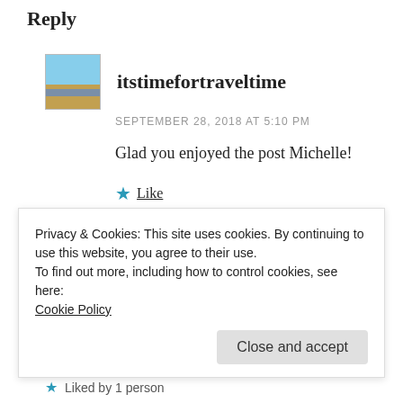Reply
[Figure (photo): User avatar thumbnail showing sky and landscape]
itstimefortraveltime
SEPTEMBER 28, 2018 AT 5:10 PM
Glad you enjoyed the post Michelle!
★ Like
↩ Reply
Privacy & Cookies: This site uses cookies. By continuing to use this website, you agree to their use.
To find out more, including how to control cookies, see here: Cookie Policy
Close and accept
★ Liked by 1 person